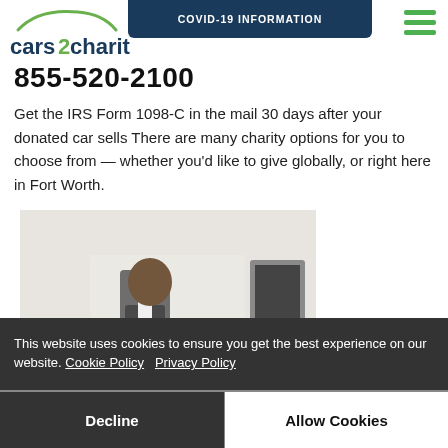cars2charities
COVID-19 INFORMATION
855-520-2100
Get the IRS Form 1098-C in the mail 30 days after your donated car sells There are many charity options for you to choose from — whether you'd like to give globally, or right here in Fort Worth.
[Figure (photo): A man in business casual attire (white shirt, dark vest, tie) sitting at a desk writing, with a computer monitor visible to the right.]
This website uses cookies to ensure you get the best experience on our website. Cookie Policy   Privacy Policy
Decline
Allow Cookies